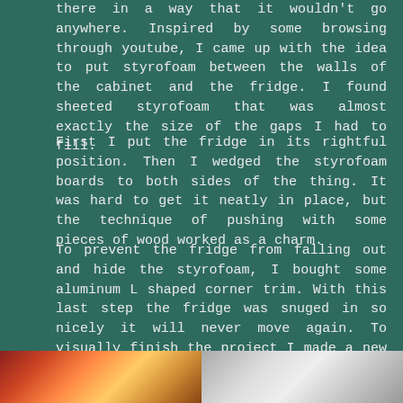there in a way that it wouldn't go anywhere. Inspired by some browsing through youtube, I came up with the idea to put styrofoam between the walls of the cabinet and the fridge. I found sheeted styrofoam that was almost exactly the size of the gaps I had to fill.
First I put the fridge in its rightful position. Then I wedged the styrofoam boards to both sides of the thing. It was hard to get it neatly in place, but the technique of pushing with some pieces of wood worked as a charm.
To prevent the fridge from falling out and hide the styrofoam, I bought some aluminum L shaped corner trim. With this last step the fridge was snuged in so nicely it will never move again. To visually finish the project I made a new board that would hold the gas buttons in place, and then I was finally done.
[Figure (photo): Two photos at the bottom of the page showing the fridge installation project. Left photo shows colorful materials, right photo shows the finished installed fridge area.]